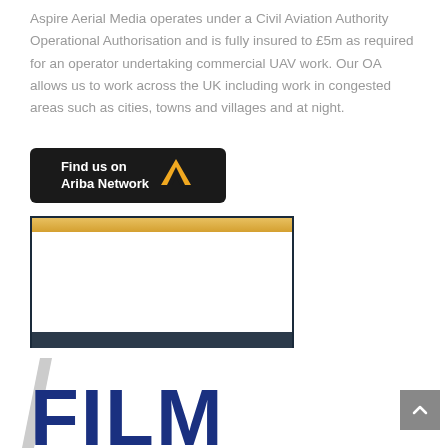Aspire Aerial Media operates under a Civil Aviation Authority Operational Authorisation and is fully insured to £5m as required for an operator undertaking commercial UAV work. Our OA allows us to work across the UK including work in congested areas such as cities, towns and villages and at night.
[Figure (logo): Find us on Ariba Network button with SAP Ariba logo (black background, white text, gold/amber Ariba triangle logo)]
[Figure (logo): Aspire Aerial Media card with gold top bar and dark navy footer with white text 'Aspire Aerial Media']
[Figure (logo): Large dark blue FILM text logo with grey diagonal slash element, partially visible at bottom of page]